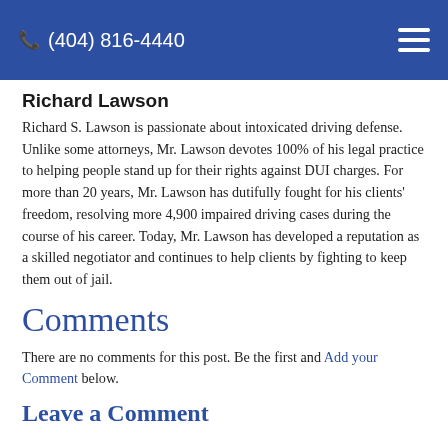(404) 816-4440
Richard Lawson
Richard S. Lawson is passionate about intoxicated driving defense. Unlike some attorneys, Mr. Lawson devotes 100% of his legal practice to helping people stand up for their rights against DUI charges. For more than 20 years, Mr. Lawson has dutifully fought for his clients' freedom, resolving more 4,900 impaired driving cases during the course of his career. Today, Mr. Lawson has developed a reputation as a skilled negotiator and continues to help clients by fighting to keep them out of jail.
Comments
There are no comments for this post. Be the first and Add your Comment below.
Leave a Comment